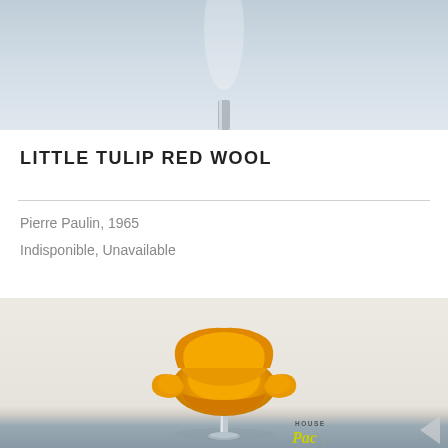[Figure (photo): Top portion of a photo showing a light grey/white wall background, partial view of a chair with a chrome pole leg.]
LITTLE TULIP RED WOOL
Pierre Paulin, 1965
Indisponible, Unavailable
[Figure (photo): Photo of the Little Tulip chair by Pierre Paulin in orange/yellow wool upholstery, tulip-shaped seat with petal-like armrests on a chrome pedestal base, against a beige/cream wall with a grey floor. House Pac logo watermark visible at bottom.]